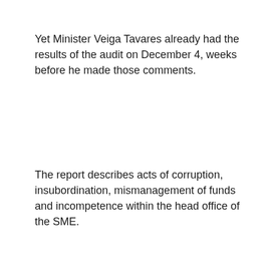Yet Minister Veiga Tavares already had the results of the audit on December 4, weeks before he made those comments.
The report describes acts of corruption, insubordination, mismanagement of funds and incompetence within the head office of the SME.